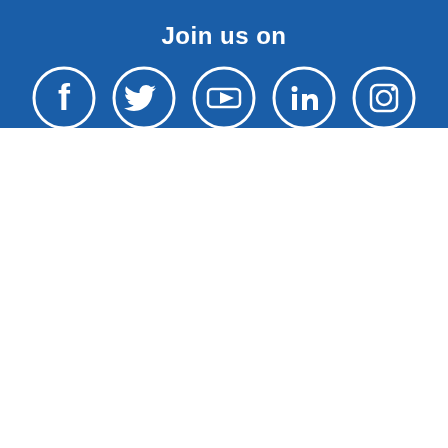Join us on
[Figure (illustration): Five social media icons in white circles on blue background: Facebook, Twitter, YouTube, LinkedIn, Instagram]